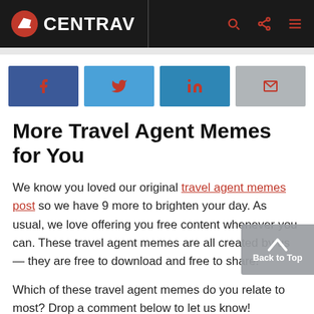CENTRAV
[Figure (infographic): Social share buttons: Facebook, Twitter, LinkedIn, Email]
More Travel Agent Memes for You
We know you loved our original travel agent memes post so we have 9 more to brighten your day. As usual, we love offering you free content whenever you can. These travel agent memes are all created by us — they are free to download and free to share!
Which of these travel agent memes do you relate to most? Drop a comment below to let us know!